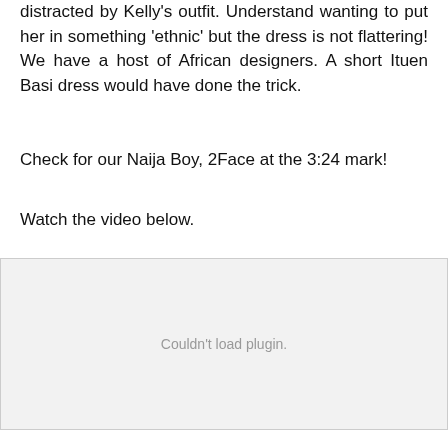distracted by Kelly's outfit. Understand wanting to put her in something 'ethnic' but the dress is not flattering! We have a host of African designers. A short Ituen Basi dress would have done the trick.
Check for our Naija Boy, 2Face at the 3:24 mark!
Watch the video below.
[Figure (other): Embedded video plugin area showing 'Couldn't load plugin.' message]